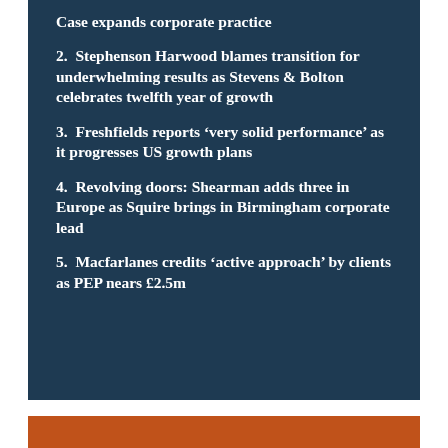Case expands corporate practice
2.  Stephenson Harwood blames transition for underwhelming results as Stevens & Bolton celebrates twelfth year of growth
3.  Freshfields reports ‘very solid performance’ as it progresses US growth plans
4.  Revolving doors: Shearman adds three in Europe as Squire brings in Birmingham corporate lead
5.  Macfarlanes credits ‘active approach’ by clients as PEP nears £2.5m